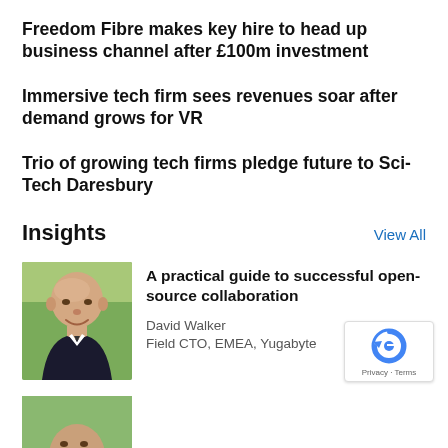Freedom Fibre makes key hire to head up business channel after £100m investment
Immersive tech firm sees revenues soar after demand grows for VR
Trio of growing tech firms pledge future to Sci-Tech Daresbury
Insights
View All
[Figure (photo): Headshot of David Walker, a bald older man in a dark suit jacket, smiling outdoors]
A practical guide to successful open-source collaboration
David Walker
Field CTO, EMEA, Yugabyte
[Figure (logo): reCAPTCHA badge with Privacy and Terms text]
[Figure (photo): Partial headshot visible at bottom of page]